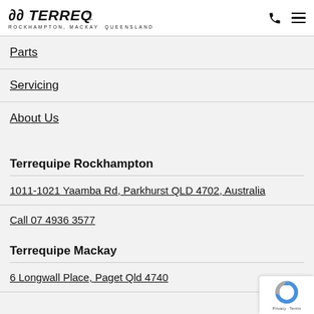TERREQUIPE | ROCKHAMPTON, MACKAY QUEENSLAND
Parts
Servicing
About Us
Terrequipe Rockhampton
1011-1021 Yaamba Rd, Parkhurst QLD 4702, Australia
Call 07 4936 3577
Terrequipe Mackay
6 Longwall Place, Paget Qld 4740